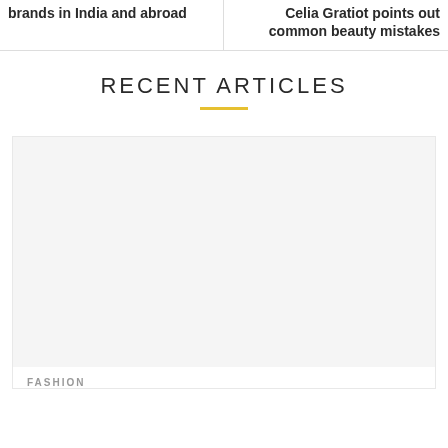brands in India and abroad
Celia Gratiot points out common beauty mistakes
RECENT ARTICLES
[Figure (photo): Article card image placeholder (light gray rectangle)]
FASHION